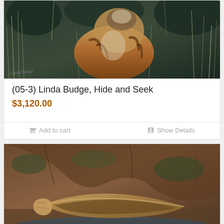[Figure (photo): Painting of a tiger partially hidden in tall grass and foliage, dark background with muted greens and blues, warm brown tones on the tiger, artist signature visible at bottom left.]
(05-3) Linda Budge, Hide and Seek
$3,120.00
Add to cart   Show Details
[Figure (photo): Painting of a canoe or boat partially resting near a river or creek, earthy tones of brown and tan, background shows rocky cliff face with vegetation, small objects near the bottom right.]